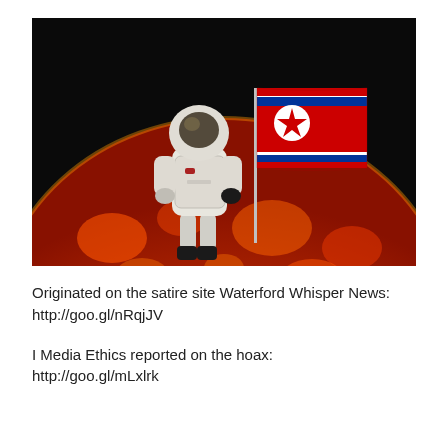[Figure (illustration): Composite image showing an astronaut in a white spacesuit standing on the surface of the sun (fiery red/orange solar surface), holding a flagpole with the North Korean flag (red, white and blue with red star). Background is black space.]
Originated on the satire site Waterford Whisper News: http://goo.gl/nRqjJV
I Media Ethics reported on the hoax: http://goo.gl/mLxlrk